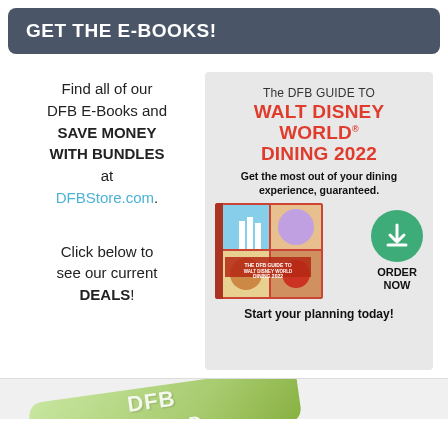GET THE E-BOOKS!
Find all of our DFB E-Books and SAVE MONEY WITH BUNDLES at DFBStore.com.

Click below to see our current DEALS!
[Figure (infographic): Advertisement box for The DFB Guide to Walt Disney World Dining 2022. Contains book cover image, green download/order button circle, and text: Get the most out of your dining experience, guaranteed. Start your planning today. ORDER NOW.]
[Figure (infographic): Bottom strip showing a green card/coupon with text 'DFB DEALS D...' partially visible, rotated, with a close (X) button.]